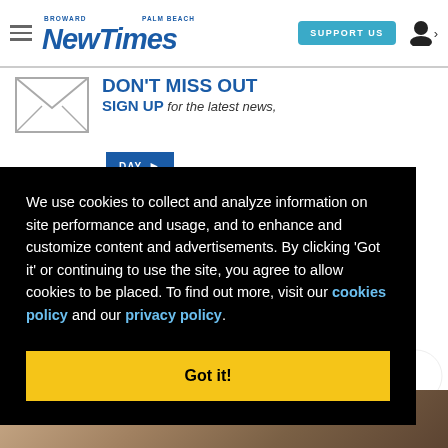Broward Palm Beach New Times — SUPPORT US
DON'T MISS OUT SIGN UP for the latest news,
We use cookies to collect and analyze information on site performance and usage, and to enhance and customize content and advertisements. By clicking 'Got it' or continuing to use the site, you agree to allow cookies to be placed. To find out more, visit our cookies policy and our privacy policy.
Got it!